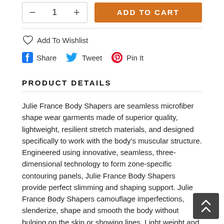[Figure (other): Quantity selector with minus and plus buttons showing '1', and orange ADD TO CART button]
Add To Wishlist
Share  Tweet  Pin It
PRODUCT DETAILS
Julie France Body Shapers are seamless microfiber shape wear garments made of superior quality, lightweight, resilient stretch materials, and designed specifically to work with the body's muscular structure. Engineered using innovative, seamless, three-dimensional technology to form zone-specific contouring panels, Julie France Body Shapers provide perfect slimming and shaping support. Julie France Body Shapers camouflage imperfections, slenderize, shape and smooth the body without bulging on the skin or showing lines. Light weight and breathable, Julie France is the ideal foundation to improve the fit of clothing.